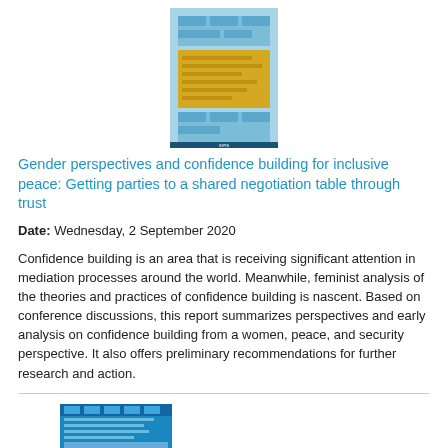[Figure (illustration): Book cover thumbnail: Gender perspectives and confidence building for inclusive peace, light blue and yellow design]
Gender perspectives and confidence building for inclusive peace: Getting parties to a shared negotiation table through trust
Date: Wednesday, 2 September 2020
Confidence building is an area that is receiving significant attention in mediation processes around the world. Meanwhile, feminist analysis of the theories and practices of confidence building is nascent. Based on conference discussions, this report summarizes perspectives and early analysis on confidence building from a women, peace, and security perspective. It also offers preliminary recommendations for further research and action.
[Figure (photo): Book/report cover thumbnail showing women in blue headscarves at what appears to be a public gathering]